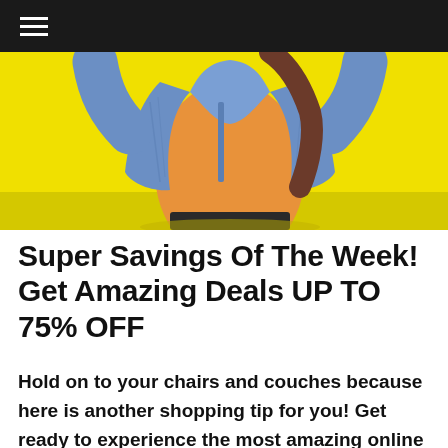≡
[Figure (photo): A person wearing an orange t-shirt and denim jacket, photographed from behind/side with arms raised, against a bright yellow background.]
Super Savings Of The Week! Get Amazing Deals UP TO 75% OFF
Hold on to your chairs and couches because here is another shopping tip for you! Get ready to experience the most amazing online deals of the week with UP